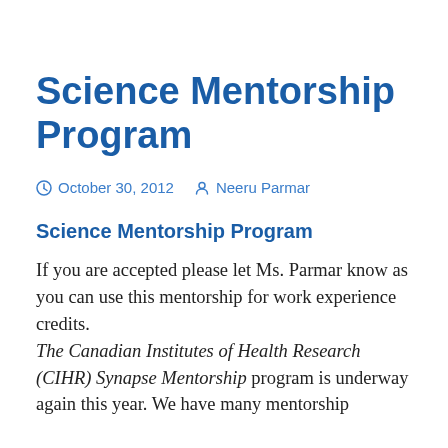Science Mentorship Program
October 30, 2012   Neeru Parmar
Science Mentorship Program
If you are accepted please let Ms. Parmar know as you can use this mentorship for work experience credits.
 The Canadian Institutes of Health Research (CIHR) Synapse Mentorship program is underway again this year. We have many mentorship